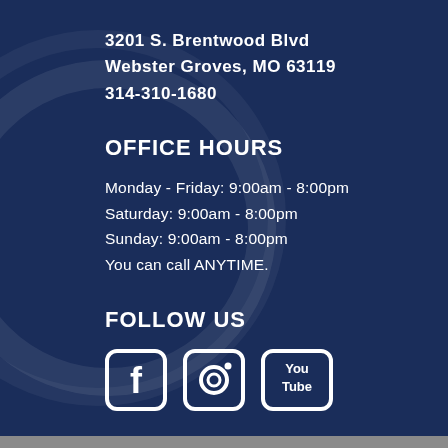3201 S. Brentwood Blvd
Webster Groves, MO 63119
314-310-1680
OFFICE HOURS
Monday - Friday: 9:00am - 8:00pm
Saturday: 9:00am - 8:00pm
Sunday: 9:00am - 8:00pm
You can call ANYTIME.
FOLLOW US
[Figure (illustration): Social media icons: Facebook, Instagram, YouTube]